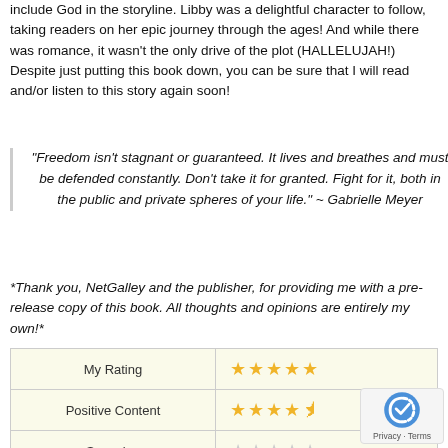include God in the storyline. Libby was a delightful character to follow, taking readers on her epic journey through the ages! And while there was romance, it wasn't the only drive of the plot (HALLELUJAH!) Despite just putting this book down, you can be sure that I will read and/or listen to this story again soon!
"Freedom isn't stagnant or guaranteed. It lives and breathes and must be defended constantly. Don't take it for granted. Fight for it, both in the public and private spheres of your life." ~ Gabrielle Meyer
*Thank you, NetGalley and the publisher, for providing me with a pre-release copy of this book. All thoughts and opinions are entirely my own!*
|  |  |
| --- | --- |
| My Rating | ★★★★★ |
| Positive Content | ★★★★½ |
| Swearing | ★☆☆☆☆ |
| Sexual Content | ★★☆☆☆ |
| Violence | ★☆☆☆☆ |